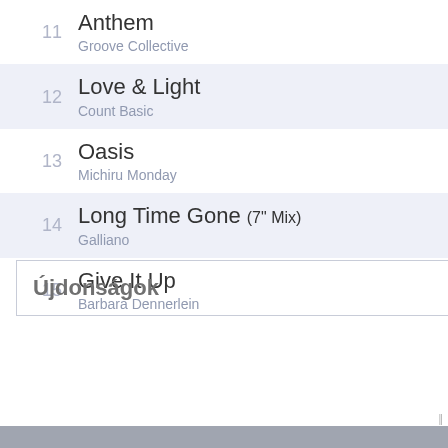11 Anthem — Groove Collective
12 Love & Light — Count Basic
13 Oasis — Michiru Monday
14 Long Time Gone (7" Mix) — Galliano
15 Give It Up — Barbara Dennerlein
Újdonságok